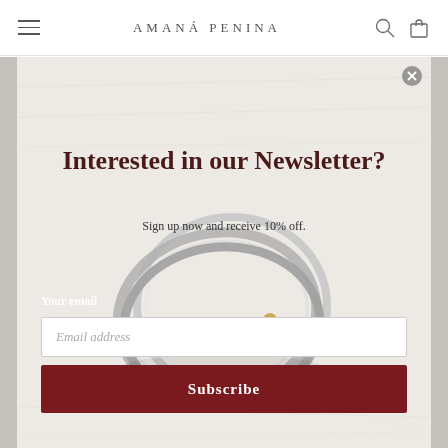AMANÁ PENINA
[Figure (screenshot): Newsletter signup modal popup over a jewelry e-commerce website. The modal shows an image of stacked silver and gold-beaded rings on a light fabric background. Text reads 'Interested in our Newsletter?' with subtitle 'Sign up now and receive 10% off.' Below is a 'Your email' label, an email address input field, and a dark red 'Subscribe' button. A close (X) button appears in the top-right corner of the modal.]